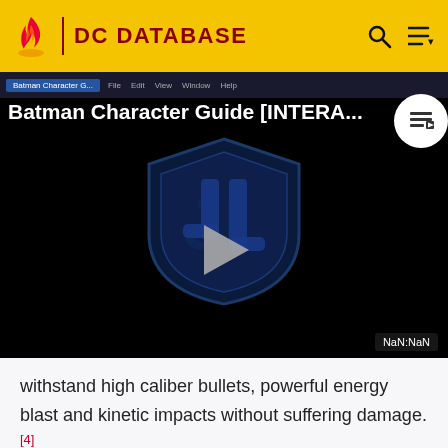DC DATABASE
[Figure (screenshot): Video player showing 'Batman Character Guide [INTERA...' with a Justice League logo/shield and play button on dark background. NaN:NaN timestamp shown.]
withstand high caliber bullets, powerful energy blast and kinetic impacts without suffering damage.[4]
Superhuman Speed: Martians can process thoughts, move, and react at incredible speed,